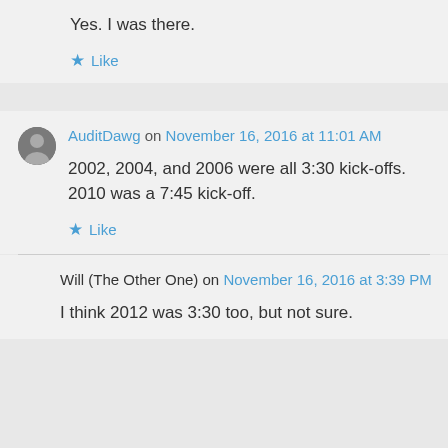Yes. I was there.
Like
AuditDawg on November 16, 2016 at 11:01 AM
2002, 2004, and 2006 were all 3:30 kick-offs. 2010 was a 7:45 kick-off.
Like
Will (The Other One) on November 16, 2016 at 3:39 PM
I think 2012 was 3:30 too, but not sure.